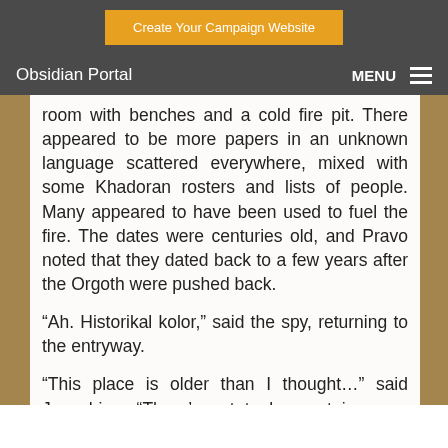Create Your Campaign Website
Obsidian Portal   MENU
room with benches and a cold fire pit. There appeared to be more papers in an unknown language scattered everywhere, mixed with some Khadoran rosters and lists of people. Many appeared to have been used to fuel the fire. The dates were centuries old, and Pravo noted that they dated back to a few years after the Orgoth were pushed back.
“Ah. Historikal kolor,” said the spy, returning to the entryway.
“This place is older than I thought…” said Josephine. “There’s got to be a stairway or something leading up … or down.